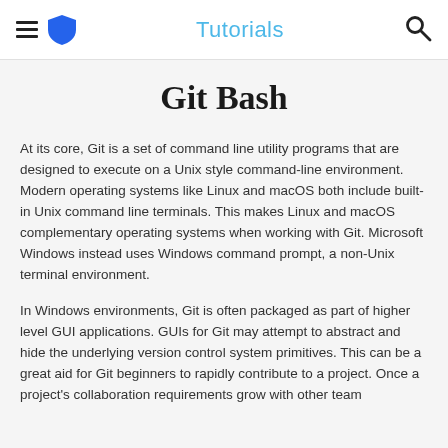Tutorials
Git Bash
At its core, Git is a set of command line utility programs that are designed to execute on a Unix style command-line environment. Modern operating systems like Linux and macOS both include built-in Unix command line terminals. This makes Linux and macOS complementary operating systems when working with Git. Microsoft Windows instead uses Windows command prompt, a non-Unix terminal environment.
In Windows environments, Git is often packaged as part of higher level GUI applications. GUIs for Git may attempt to abstract and hide the underlying version control system primitives. This can be a great aid for Git beginners to rapidly contribute to a project. Once a project's collaboration requirements grow with other team